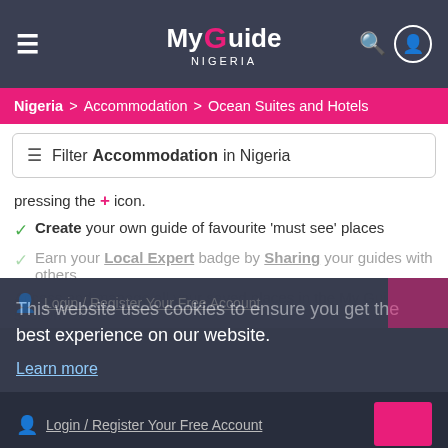My Guide Nigeria
Nigeria > Accommodation > Ocean Suites and Hotels
Filter Accommodation in Nigeria
pressing the + icon.
Create your own guide of favourite 'must see' places
Earn your Local Expert badge by Sharing your guides with others
This website uses cookies to ensure you get the best experience on our website.
Learn more
Got it!